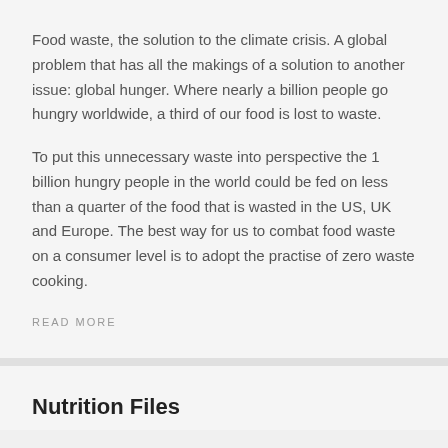Food waste, the solution to the climate crisis. A global problem that has all the makings of a solution to another issue: global hunger. Where nearly a billion people go hungry worldwide, a third of our food is lost to waste.
To put this unnecessary waste into perspective the 1 billion hungry people in the world could be fed on less than a quarter of the food that is wasted in the US, UK and Europe. The best way for us to combat food waste on a consumer level is to adopt the practise of zero waste cooking.
READ MORE
Nutrition Files